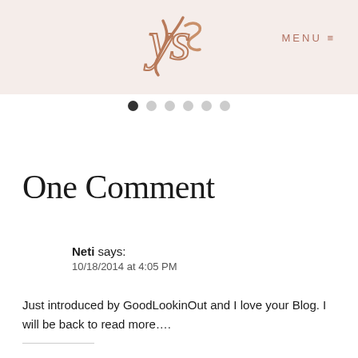ys — MENU
[Figure (illustration): Navigation dots: one filled dark circle followed by five light grey circles]
One Comment
Neti says: 10/18/2014 at 4:05 PM
Just introduced by GoodLookinOut and I love your Blog. I will be back to read more….